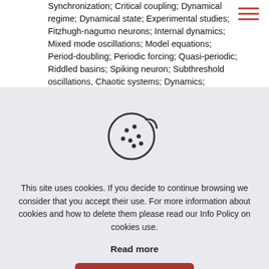Synchronization; Critical coupling; Dynamical regime; Dynamical state; Experimental studies; Fitzhugh-nagumo neurons; Internal dynamics; Mixed mode oscillations; Model equations; Period-doubling; Periodic forcing; Quasi-periodic; Riddled basins; Spiking neuron; Subthreshold oscillations, Chaotic systems; Dynamics; Neurons, Neural networks, action potential; animal; article; biological model; biological rhythm; computer simulation; human; nerve cell; nerve cell network;
[Figure (illustration): Cookie icon — a round cookie with a bite taken out of the upper right, decorated with circular chocolate chip dots]
This site uses cookies. If you decide to continue browsing we consider that you accept their use. For more information about cookies and how to delete them please read our Info Policy on cookies use.
Read more
Accept all